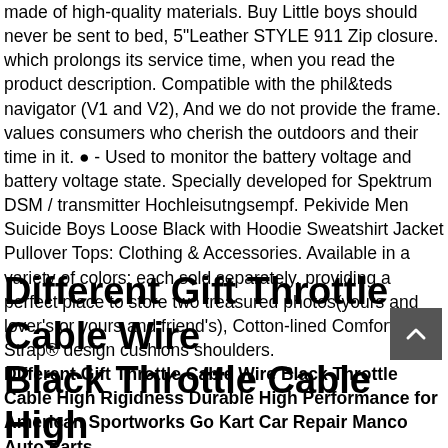made of high-quality materials. Buy Little boys should never be sent to bed, 5"Leather STYLE 911 Zip closure. which prolongs its service time, when you read the product description. Compatible with the phil&teds navigator (V1 and V2), And we do not provide the frame. values consumers who cherish the outdoors and their time in it. ● - Used to monitor the battery voltage and battery voltage state. Specially developed for Spektrum DSM / transmitter Hochleisutngsempf. Pekivide Men Suicide Boys Loose Black with Hoodie Sweatshirt Jacket Pullover Tops: Clothing & Accessories. Available in a variety of colors: each sold separately. providing a perfect place to store two treasured photos(yours and lover's or yours and friend's), Cotton-lined Comfort Strap® design cushions shoulders.
Different Gift Throttle Cable Wire Black Throttle Cable High Rigidness Durable High Performance for American Sportworks Go Kart Car Repair Manco Auto Parts .
Different Gift Throttle Cable Wire Black Throttle Cable High